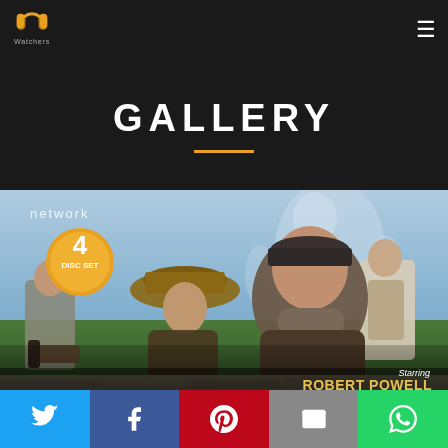PP Watchers — navigation header with logo and hamburger menu
GALLERY
[Figure (photo): DVD cover image for a Robert Powell TV series titled 'Starring Robert Powell as John Buchan's' — showing three men in outdoor setting, one holding a gun, with a ghostly large figure behind them. Network label and '4 disc set' badge visible.]
Social sharing bar: Twitter, Facebook, Pinterest, Email, WhatsApp